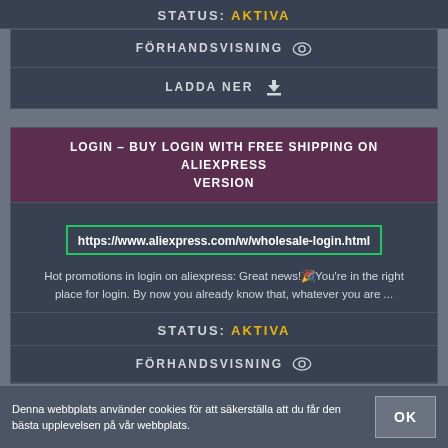STATUS: AKTIVA
FÖRHANDSVISNING
LADDA NER
LOGIN – BUY LOGIN WITH FREE SHIPPING ON ALIEXPRESS VERSION
https://www.aliexpress.com/w/wholesale-login.html
Hot promotions in login on aliexpress: Great news!🎉You're in the right place for login. By now you already know that, whatever you are ...
STATUS: AKTIVA
FÖRHANDSVISNING
Denna webbplats använder cookies för att säkerställa att du får den bästa upplevelsen på vår webbplats.